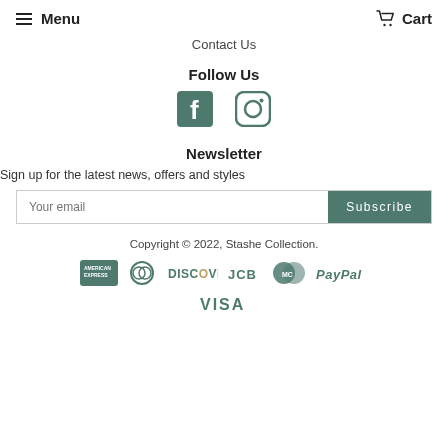Menu  Cart
Contact Us
Follow Us
[Figure (illustration): Facebook and Instagram social media icons in dark teal/green color]
Newsletter
Sign up for the latest news, offers and styles
Your email  Subscribe
Copyright © 2022, Stashe Collection.
[Figure (illustration): Payment method logos: American Express, Diners Club, Discover, JCB, MasterCard, PayPal, Visa — all in dark grey/teal tones]